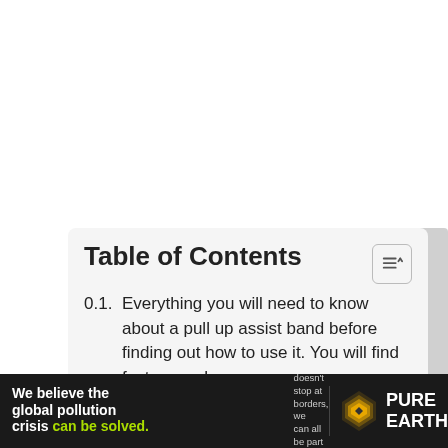Table of Contents
0.1. Everything you will need to know about a pull up assist band before finding out how to use it. You will find factors such as:
0.2. How to use a pull up assist band effectively including...
[Figure (other): Advertisement banner for Pure Earth: 'We believe the global pollution crisis can be solved.' with Pure Earth logo on dark background]